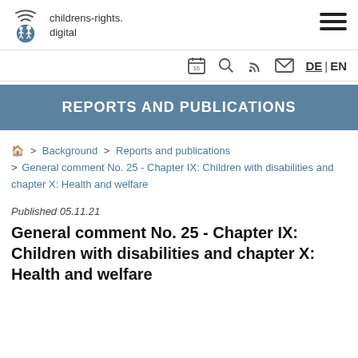childrens-rights.digital
[Figure (logo): childrens-rights.digital logo with WiFi icon above two figures in a blue circle]
Icons: calendar, search, RSS, email, DE | EN language switcher
REPORTS AND PUBLICATIONS
> Background > Reports and publications > General comment No. 25 - Chapter IX: Children with disabilities and chapter X: Health and welfare
Published 05.11.21
General comment No. 25 - Chapter IX: Children with disabilities and chapter X: Health and welfare